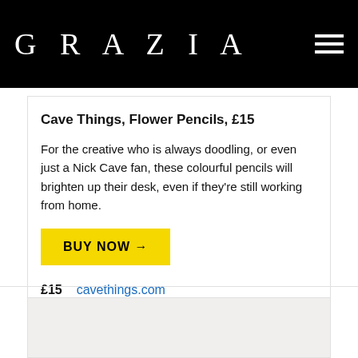GRAZIA
Cave Things, Flower Pencils, £15
For the creative who is always doodling, or even just a Nick Cave fan, these colourful pencils will brighten up their desk, even if they're still working from home.
BUY NOW →
£15   cavethings.com